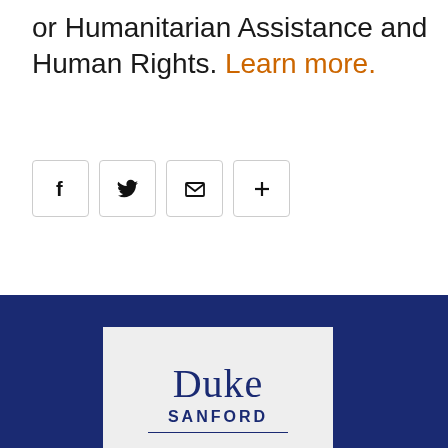or Humanitarian Assistance and Human Rights. Learn more.
[Figure (infographic): Social sharing buttons: Facebook (f), Twitter (bird icon), Email (envelope icon), More (+)]
[Figure (logo): Duke Sanford logo on light gray background, displayed in footer dark blue band]